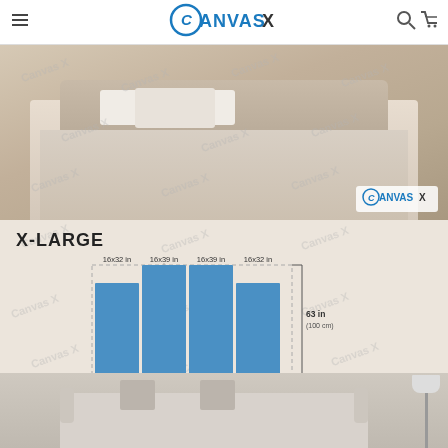CanvasX
[Figure (photo): Bedroom scene with a made bed, decorative pillows, and a watermarked CanvasX logo in the bottom right. Canvas art product lifestyle image.]
[Figure (infographic): X-LARGE canvas size diagram showing 4 panels: two outer panels labeled 16x32 in (40x80 cm) and two inner panels labeled 16x39 in (40x100 cm). Total width: 63 in (160 cm), total height: 63 in (100 cm). Below the diagram is a living room sofa scene.]